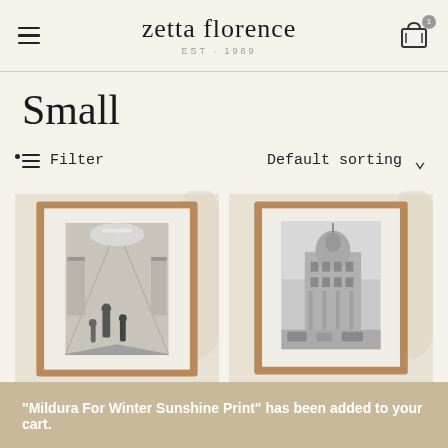zetta florence EST · 1989
Small
Filter   Default sorting
[Figure (photo): Two framed black and white art prints in wooden frames displayed against a cream fabric background with orange dried flowers. Left print shows a busy shopping arcade, right print shows a historic city building street scene.]
"Mildura For Winter Sunshine Print" has been added to your cart.